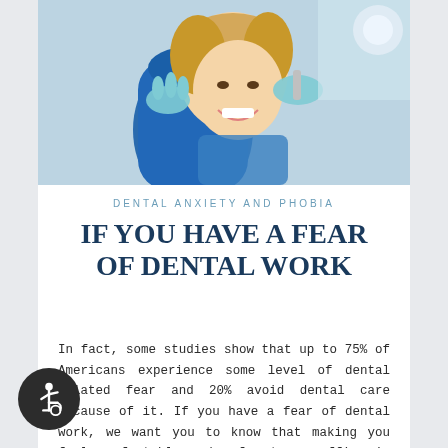[Figure (photo): A smiling woman patient in a dental chair with a blue dental bib, being treated by a dentist wearing blue gloves, holding dental instruments. The background shows a bright dental office setting.]
DENTAL ANXIETY AND PHOBIA
IF YOU HAVE A FEAR OF DENTAL WORK
In fact, some studies show that up to 75% of Americans experience some level of dental related fear and 20% avoid dental care because of it. If you have a fear of dental work, we want you to know that making you feel comfortable and safe at our office is our first priority. Dental anxieties and phobias present themselves in a wide variety of ways, and specific fears vary